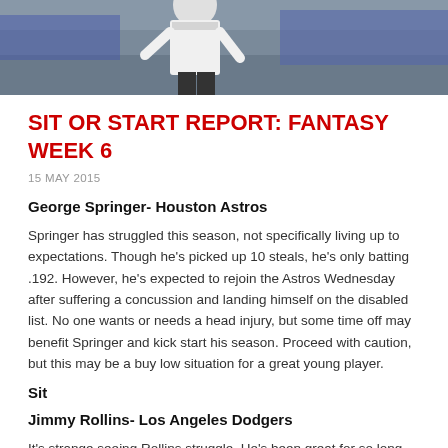[Figure (photo): Photo of a baseball player in white uniform at top of page]
SIT OR START REPORT: FANTASY WEEK 6
15 MAY 2015
George Springer- Houston Astros
Springer has struggled this season, not specifically living up to expectations. Though he's picked up 10 steals, he's only batting .192. However, he's expected to rejoin the Astros Wednesday after suffering a concussion and landing himself on the disabled list. No one wants or needs a head injury, but some time off may benefit Springer and kick start his season. Proceed with caution, but this may be a buy low situation for a great young player.
Sit
Jimmy Rollins- Los Angeles Dodgers
It's strange seeing Rollins struggle. He's been great for so long, eventually you take it for granted that he won't always be that way. Anyhow, he now is in the midst of a struggle that started early and hasn't gotten much better at any point. His average is up to .248 on the season but he's only hitting .158 over his last